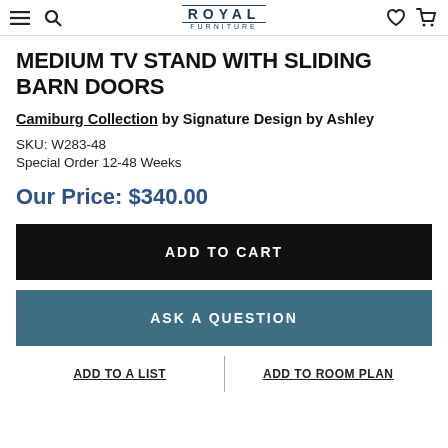Royal Furniture
MEDIUM TV STAND WITH SLIDING BARN DOORS
Camiburg Collection by Signature Design by Ashley
SKU: W283-48
Special Order  12-48 Weeks
Our Price: $340.00
ADD TO CART
ASK A QUESTION
ADD TO A LIST
ADD TO ROOM PLAN